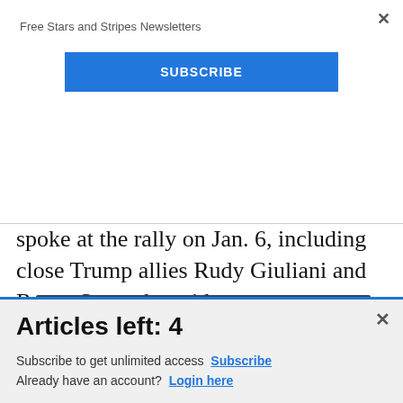Free Stars and Stripes Newsletters
SUBSCRIBE
planned effort.” That includes both leaders in the groups and people who spoke at the rally on Jan. 6, including close Trump allies Rudy Giuliani and Roger Stone, he said.
[Figure (screenshot): Commissary Click2Go advertisement banner with green logo and commissary badge]
Articles left: 4
Subscribe to get unlimited access Subscribe
Already have an account? Login here